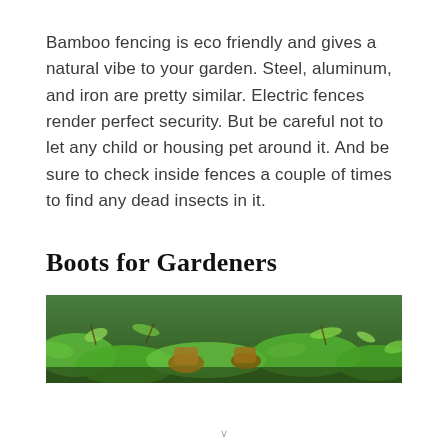Bamboo fencing is eco friendly and gives a natural vibe to your garden. Steel, aluminum, and iron are pretty similar. Electric fences render perfect security. But be careful not to let any child or housing pet around it. And be sure to check inside fences a couple of times to find any dead insects in it.
Boots for Gardeners
[Figure (photo): A close-up photograph of garden boots/tools among green moss, plants, and foliage on the ground.]